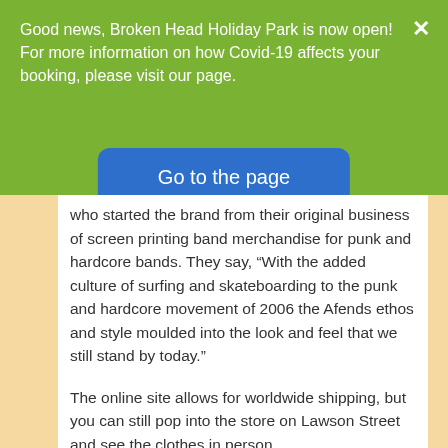Good news, Broken Head Holiday Park is now open! For more information on how Covid-19 affects your booking, please visit our page.
Go to the page
who started the brand from their original business of screen printing band merchandise for punk and hardcore bands. They say, “With the added culture of surfing and skateboarding to the punk and hardcore movement of 2006 the Afends ethos and style moulded into the look and feel that we still stand by today.”
The online site allows for worldwide shipping, but you can still pop into the store on Lawson Street and see the clothes in person.
4. Liberated Heart